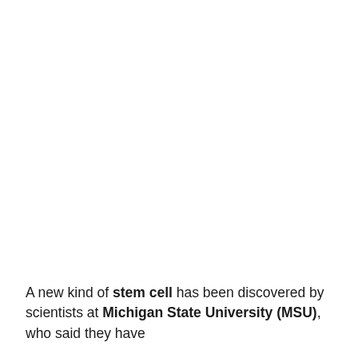A new kind of stem cell has been discovered by scientists at Michigan State University (MSU), who said they have